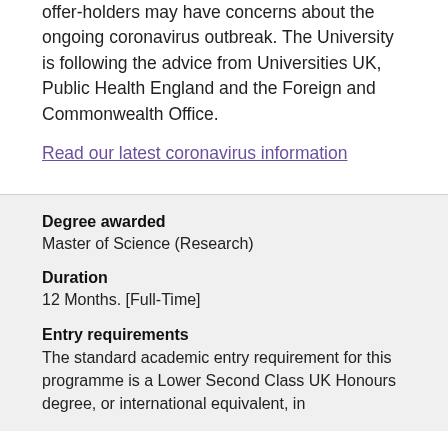offer-holders may have concerns about the ongoing coronavirus outbreak. The University is following the advice from Universities UK, Public Health England and the Foreign and Commonwealth Office.
Read our latest coronavirus information
Degree awarded
Master of Science (Research)
Duration
12 Months. [Full-Time]
Entry requirements
The standard academic entry requirement for this programme is a Lower Second Class UK Honours degree, or international equivalent, in